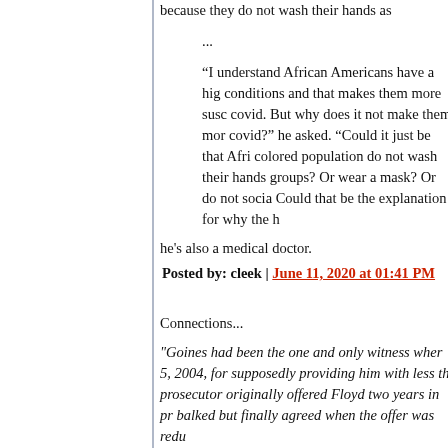because they do not wash their hands as
...
“I understand African Americans have a high conditions and that makes them more susceptible to covid. But why does it not make them more careful of covid?” he asked. “Could it just be that Afri colored population do not wash their hands as groups? Or wear a mask? Or do not social Could that be the explanation for why the h
he's also a medical doctor.
Posted by: cleek | June 11, 2020 at 01:41 PM
Connections...
"Goines had been the one and only witness where 5, 2004, for supposedly providing him with less than prosecutor originally offered Floyd two years in pr balked but finally agreed when the offer was redu
Had he gone to trial, he would have faced serious based solely on the word of the arresting officer, whom the jury was going to believe. He said Con